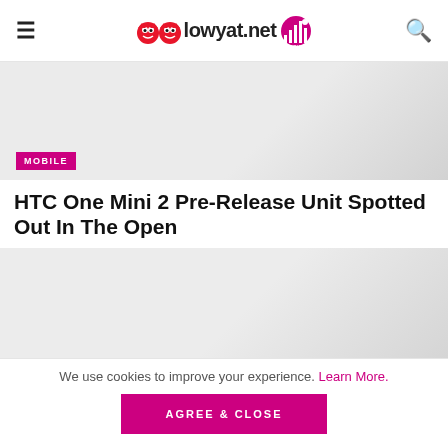lowyat.net
[Figure (photo): Hero image placeholder for article — light grey gradient background with MOBILE category badge]
HTC One Mini 2 Pre-Release Unit Spotted Out In The Open
[Figure (photo): Second article image placeholder — light grey gradient background]
We use cookies to improve your experience. Learn More.
AGREE & CLOSE